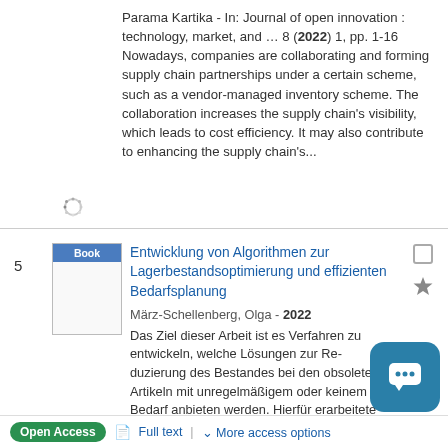Parama Kartika - In: Journal of open innovation : technology, market, and … 8 (2022) 1, pp. 1-16 Nowadays, companies are collaborating and forming supply chain partnerships under a certain scheme, such as a vendor-managed inventory scheme. The collaboration increases the supply chain's visibility, which leads to cost efficiency. It may also contribute to enhancing the supply chain's...
[Figure (other): Loading spinner icon]
5
[Figure (illustration): Book cover thumbnail with 'Book' label in blue header]
Entwicklung von Algorithmen zur Lagerbestandsoptimierung und effizienten Bedarfsplanung
März-Schellenberg, Olga - 2022
Das Ziel dieser Arbeit ist es Verfahren zu entwickeln, welche Lösungen zur Re-duzierung des Bestandes bei den obsoleten Artikeln mit unregelmäßigem oder keinem Bedarf anbieten werden. Hierfür erarbeitete der Autor zwei Algorithmen, welche Berechnung der Logistikkosten beinhalten. Die...
Open Access | Full text | More access options